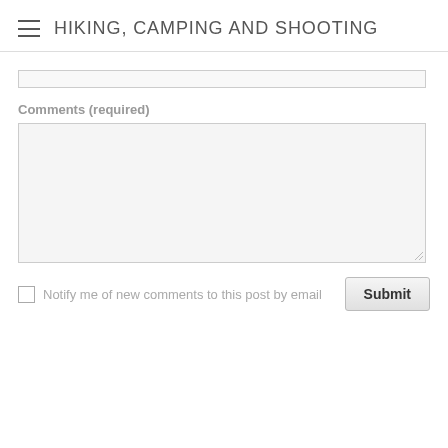HIKING, CAMPING AND SHOOTING
[Figure (screenshot): A web form input field (text input, partially visible at top)]
Comments (required)
[Figure (screenshot): A large textarea form field for entering comments]
Notify me of new comments to this post by email
[Figure (screenshot): Submit button]